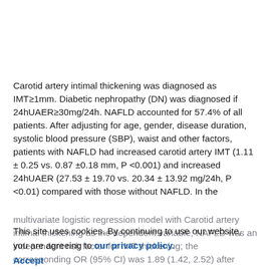Carotid artery intimal thickening was diagnosed as IMT≥1mm. Diabetic nephropathy (DN) was diagnosed if 24hUAER≥30mg/24h. NAFLD accounted for 57.4% of all patients. After adjusting for age, gender, disease duration, systolic blood pressure (SBP), waist and other factors, patients with NAFLD had increased carotid artery IMT (1.11 ± 0.25 vs. 0.87 ±0.18 mm, P <0.001) and increased 24hUAER (27.53 ± 19.70 vs. 20.34 ± 13.92 mg/24h, P <0.01) compared with those without NAFLD. In the
multivariate logistic regression model with Carotid artery intimal thickening as the dependent variable, NAFLD was an independent risk factor for IMT thickening; the corresponding OR (95% CI) was 1.89 (1.42, 2.52) after
This site uses cookies. By continuing to use our website, you are agreeing to our privacy policy. Accept